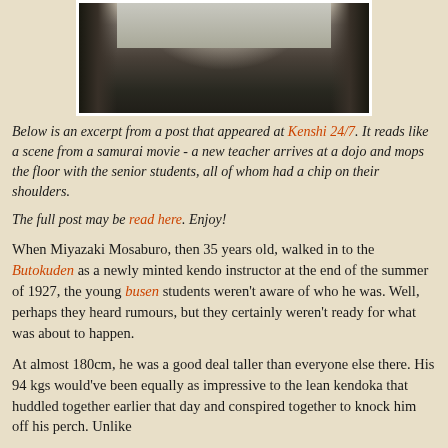[Figure (photo): Black and white photograph showing dark tall trees or rock formations with a lighter sky in the background]
Below is an excerpt from a post that appeared at Kenshi 24/7. It reads like a scene from a samurai movie - a new teacher arrives at a dojo and mops the floor with the senior students, all of whom had a chip on their shoulders.
The full post may be read here. Enjoy!
When Miyazaki Mosaburo, then 35 years old, walked in to the Butokuden as a newly minted kendo instructor at the end of the summer of 1927, the young busen students weren't aware of who he was. Well, perhaps they heard rumours, but they certainly weren't ready for what was about to happen.
At almost 180cm, he was a good deal taller than everyone else there. His 94 kgs would've been equally as impressive to the lean kendoka that huddled together earlier that day and conspired together to knock him off his perch. Unlike